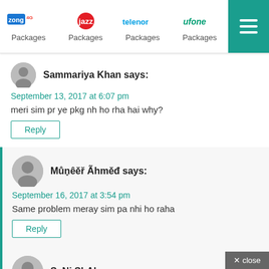Zong 4G Packages | Jazz Packages | Telenor Packages | Ufone Packages
Sammariya Khan says:
September 13, 2017 at 6:07 pm
meri sim pr ye pkg nh ho rha hai why?
Reply
Můņêěř Ãhměđ says:
September 16, 2017 at 3:54 pm
Same problem meray sim pa nhi ho raha
Reply
SaNi ShAh says:
October 11, 2017 at 8:22 am